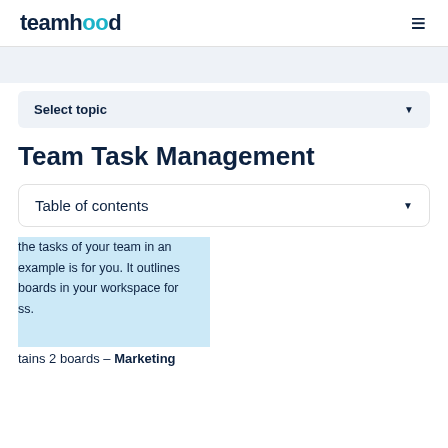teamhood  ≡
Select topic
Team Task Management
Table of contents
the tasks of your team in an example is for you. It outlines boards in your workspace for ss.
tains 2 boards – Marketing